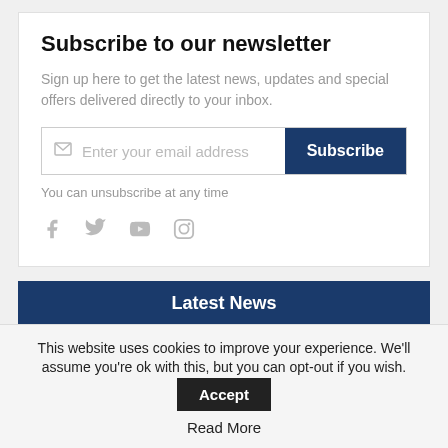Subscribe to our newsletter
Sign up here to get the latest news, updates and special offers delivered directly to your inbox.
Enter your email address  Subscribe
You can unsubscribe at any time
[Figure (infographic): Social media icons: Facebook, Twitter, YouTube, Instagram]
Latest News
[Figure (photo): Crowd with flags thumbnail image]
UN Myanmar envoy 'very concerned' about...
Francesco Mazzag...
This website uses cookies to improve your experience. We'll assume you're ok with this, but you can opt-out if you wish.  Accept
Read More